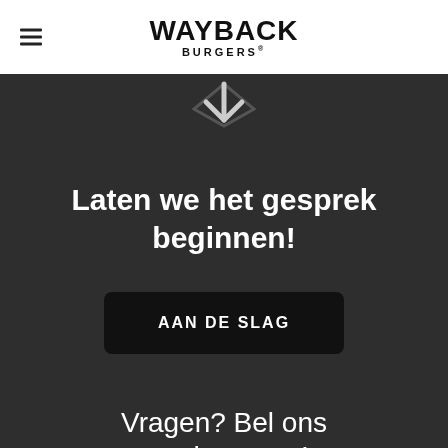WAYBACK BURGERS
[Figure (illustration): A downward-pointing chevron arrow icon in dark color on dark background]
Laten we het gesprek beginnen!
AAN DE SLAG
Vragen? Bel ons vandaag nog!